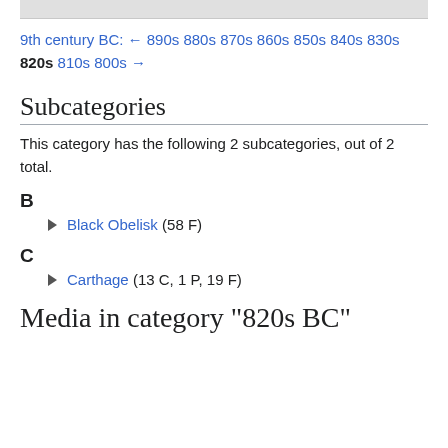9th century BC: ← 890s 880s 870s 860s 850s 840s 830s 820s 810s 800s →
Subcategories
This category has the following 2 subcategories, out of 2 total.
B
► Black Obelisk (58 F)
C
► Carthage (13 C, 1 P, 19 F)
Media in category "820s BC"